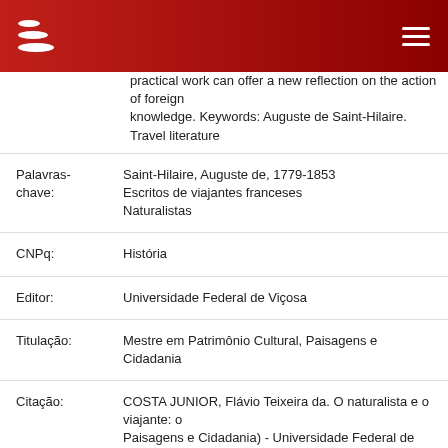UFV Locus Repository header with logo and menu
practical work can offer a new reflection on the action of foreign knowledge. Keywords: Auguste de Saint-Hilaire. Travel literature
| Field | Value |
| --- | --- |
| Palavras-chave: | Saint-Hilaire, Auguste de, 1779-1853
Escritos de viajantes franceses
Naturalistas |
| CNPq: | História |
| Editor: | Universidade Federal de Viçosa |
| Titulação: | Mestre em Patrimônio Cultural, Paisagens e Cidadania |
| Citação: | COSTA JUNIOR, Flávio Teixeira da. O naturalista e o viajante: o Paisagens e Cidadania) - Universidade Federal de Viçosa, Viços |
| Tipo de Acesso: | Acesso Aberto |
| URI: | https://locus.ufv.br//handle/123456789/28689 |
| Data do documento: | 11-Dez-2019 |